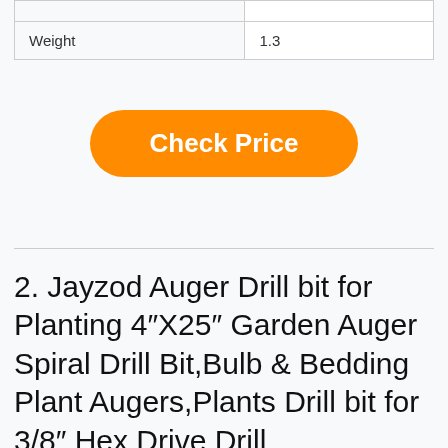| Weight | 1.3 |
[Figure (other): Orange rounded rectangle button with white bold text 'Check Price']
2. Jayzod Auger Drill bit for Planting 4″X25″ Garden Auger Spiral Drill Bit,Bulb & Bedding Plant Augers,Plants Drill bit for 3/8″ Hex Drive Drill